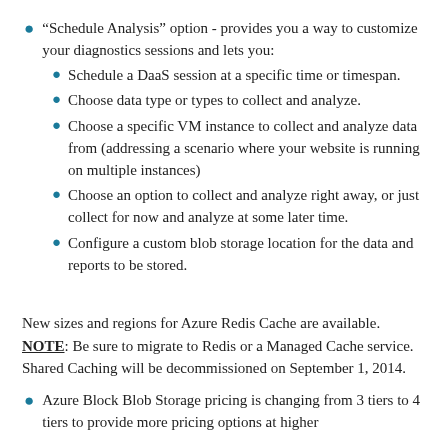“Schedule Analysis” option - provides you a way to customize your diagnostics sessions and lets you:
Schedule a DaaS session at a specific time or timespan.
Choose data type or types to collect and analyze.
Choose a specific VM instance to collect and analyze data from (addressing a scenario where your website is running on multiple instances)
Choose an option to collect and analyze right away, or just collect for now and analyze at some later time.
Configure a custom blob storage location for the data and reports to be stored.
New sizes and regions for Azure Redis Cache are available. NOTE: Be sure to migrate to Redis or a Managed Cache service. Shared Caching will be decommissioned on September 1, 2014.
Azure Block Blob Storage pricing is changing from 3 tiers to 4 tiers to provide more pricing options at higher